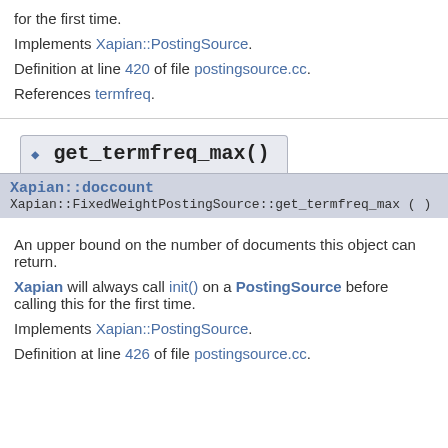for the first time.
Implements Xapian::PostingSource.
Definition at line 420 of file postingsource.cc.
References termfreq.
get_termfreq_max()
Xapian::doccount Xapian::FixedWeightPostingSource::get_termfreq_max ( ) const
An upper bound on the number of documents this object can return.
Xapian will always call init() on a PostingSource before calling this for the first time.
Implements Xapian::PostingSource.
Definition at line 426 of file postingsource.cc.